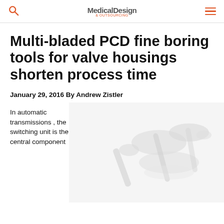Medical Design & Outsourcing
Multi-bladed PCD fine boring tools for valve housings shorten process time
January 29, 2016 By Andrew Zistler
In automatic transmissions , the switching unit is the central component
[Figure (photo): Photo of boring tools or valve components on white background, faded/light image]